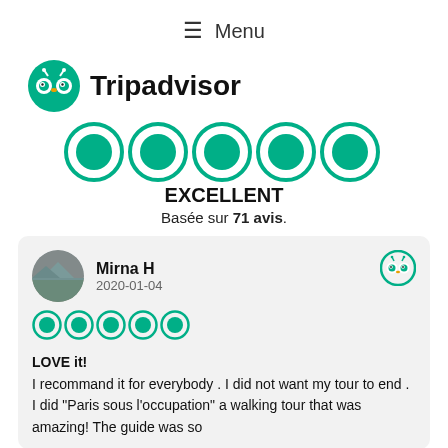≡ Menu
[Figure (logo): Tripadvisor owl logo (green circle with owl face) followed by bold text 'Tripadvisor']
[Figure (other): Five filled green Tripadvisor circle rating dots representing 5-star excellent rating]
EXCELLENT
Basée sur 71 avis.
Mirna H
2020-01-04
[Figure (other): Five filled green Tripadvisor circle rating dots (small) for reviewer]
LOVE it!
I recommand it for everybody . I did not want my tour to end . I did "Paris sous l'occupation" a walking tour that was amazing! The guide was so